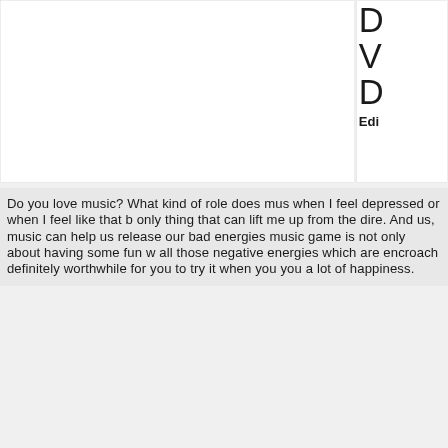[Figure (other): White box area with partial text visible on the right side showing large letters D, V, D and bold text 'Edi' — appears to be a cropped UI or web page panel]
Do you love music? What kind of role does music play when I feel depressed or when I feel like that b... only thing that can lift me up from the dire. And us, music can help us release our bad energies ... music game is not only about having some fun w... all those negative energies which are encroach... definitely worthwhile for you to try it when you... you a lot of happiness.